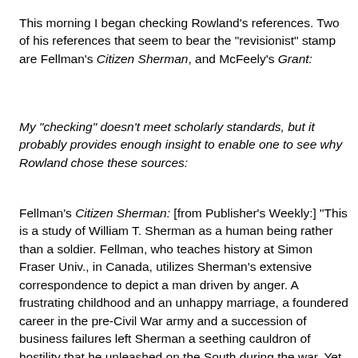This morning I began checking Rowland's references. Two of his references that seem to bear the "revisionist" stamp are Fellman's Citizen Sherman, and McFeely's Grant:
My "checking" doesn't meet scholarly standards, but it probably provides enough insight to enable one to see why Rowland chose these sources:
Fellman's Citizen Sherman: [from Publisher's Weekly:] "This is a study of William T. Sherman as a human being rather than a soldier. Fellman, who teaches history at Simon Fraser Univ., in Canada, utilizes Sherman's extensive correspondence to depict a man driven by anger. A frustrating childhood and an unhappy marriage, a foundered career in the pre-Civil War army and a succession of business failures left Sherman a seething cauldron of hostility that he unleashed on the South during the war. Yet Sherman's will kept his emotions in check most of the time. His harrowing of the Confederacy was a means to end a war